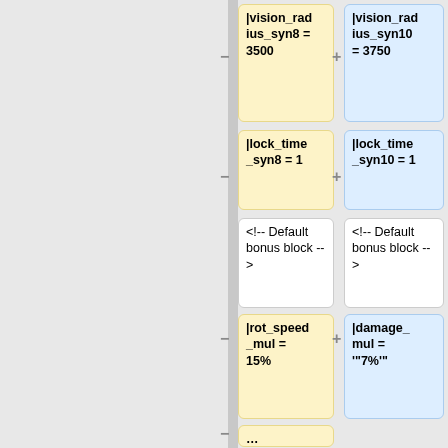[Figure (other): Diff view showing two columns of code property changes. Left column (yellow, removed) and right column (blue, added) showing configuration parameter differences. Parameters include vision_radius_syn8/syn10, lock_time_syn8/syn10, default bonus block comments, rot_speed_mul, rot_speed_mul_synLvl, damage_mul, damage_mul_synLvl, energy_regen_mul, energy_regen_mul_synLvl.]